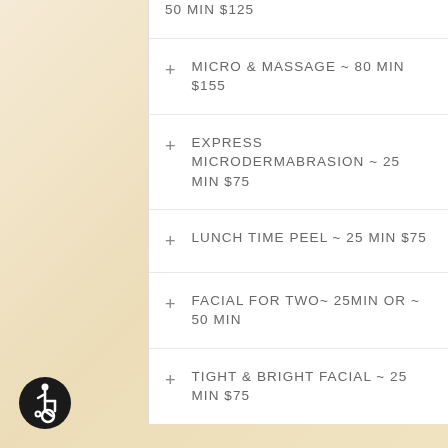50 MIN $125
MICRO & MASSAGE ~ 80 MIN $155
EXPRESS MICRODERMABRASION ~ 25 MIN $75
LUNCH TIME PEEL ~ 25 MIN $75
FACIAL FOR TWO~ 25MIN OR ~ 50 MIN
TIGHT & BRIGHT FACIAL ~ 25 MIN $75
[Figure (logo): Wheelchair accessibility icon — black circle with white wheelchair user symbol]